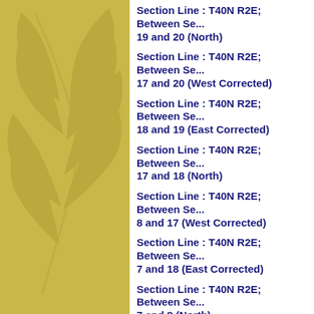Section Line : T40N R2E; Between Sections 19 and 20 (North)
Section Line : T40N R2E; Between Sections 17 and 20 (West Corrected)
Section Line : T40N R2E; Between Sections 18 and 19 (East Corrected)
Section Line : T40N R2E; Between Sections 17 and 18 (North)
Section Line : T40N R2E; Between Sections 8 and 17 (West Corrected)
Section Line : T40N R2E; Between Sections 7 and 18 (East Corrected)
Section Line : T40N R2E; Between Sections 7 and 8 (North)
Section Line : T40N R2E; Between Sections 5 and 8 (West Corrected)
Section Line : T40N R2E; Between Sections 6 and 7 (East Corrected)
Section Line : T40N R2E; Between Sections 5 and 6 (North)
Affidavit